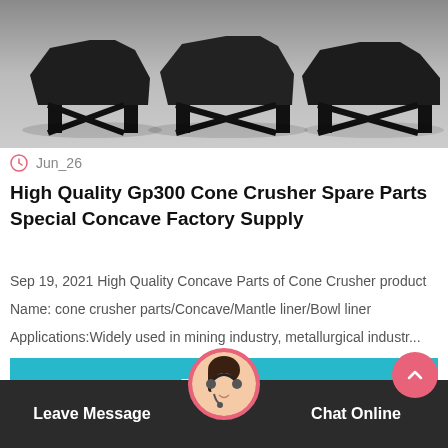[Figure (photo): Industrial cone crusher machines on a factory floor, large black heavy machinery units on metal stands, grey concrete background]
Jun_26
High Quality Gp300 Cone Crusher Spare Parts Special Concave Factory Supply
Sep 19, 2021 High Quality Concave Parts of Cone Crusher product
Name: cone crusher parts/Concave/Mantle liner/Bowl liner
Applications:Widely used in mining industry, metallurgical industr...
Read More
Leave Message
Chat Online